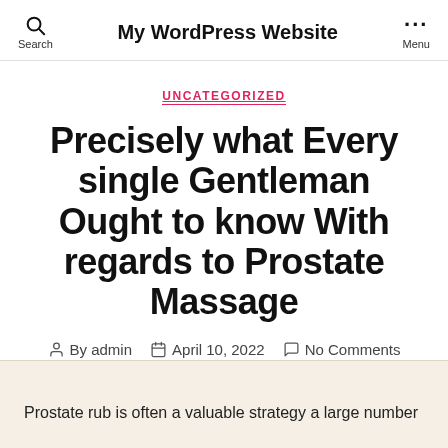My WordPress Website
UNCATEGORIZED
Precisely what Every single Gentleman Ought to know With regards to Prostate Massage
By admin  April 10, 2022  No Comments
Prostate rub is often a valuable strategy a large number